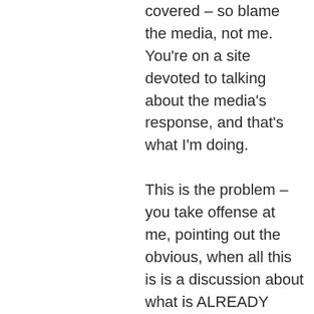covered – so blame the media, not me. You're on a site devoted to talking about the media's response, and that's what I'm doing.

This is the problem – you take offense at me, pointing out the obvious, when all this is is a discussion about what is ALREADY happening. The NFL is ALREADY investigating.

I don't need to know any